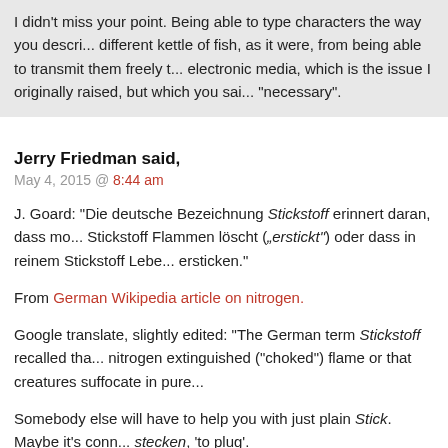I didn't miss your point. Being able to type characters the way you describe is a different kettle of fish, as it were, from being able to transmit them freely through electronic media, which is the issue I originally raised, but which you said wasn't "necessary".
Jerry Friedman said,
May 4, 2015 @ 8:44 am
J. Goard: "Die deutsche Bezeichnung Stickstoff erinnert daran, dass mo... Stickstoff Flammen löscht (‚erstickt’) oder dass in reinem Stickstoff Lebe... ersticken."
From German Wikipedia article on nitrogen.
Google translate, slightly edited: "The German term Stickstoff recalled tha... nitrogen extinguished ("choked") flame or that creatures suffocate in pure...
Somebody else will have to help you with just plain Stick. Maybe it's conn... stecken, 'to plug'.
Simon said,
May 4, 2015 @ 9:05 am
Stickstoff – "choke/suffocate material"